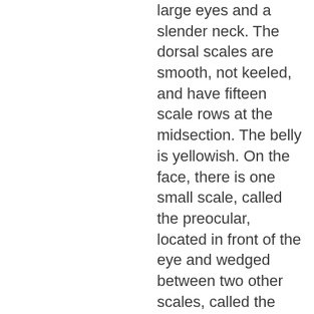large eyes and a slender neck. The dorsal scales are smooth, not keeled, and have fifteen scale rows at the midsection. The belly is yellowish. On the face, there is one small scale, called the preocular, located in front of the eye and wedged between two other scales, called the upper labials. The scales on the top of the head are large, a feature that distinguishes this family of snakes. Snakes in the Masticophis genus